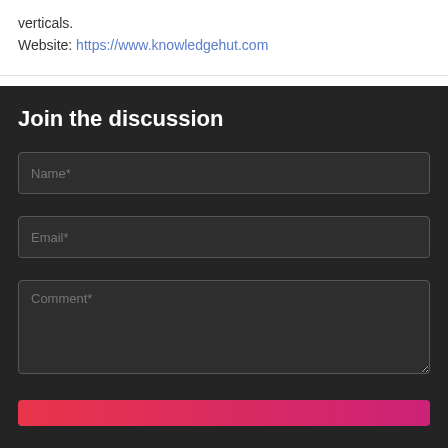verticals.
Website: https://www.knowledgehut.com
Join the discussion
Name*
Email*
Comment*